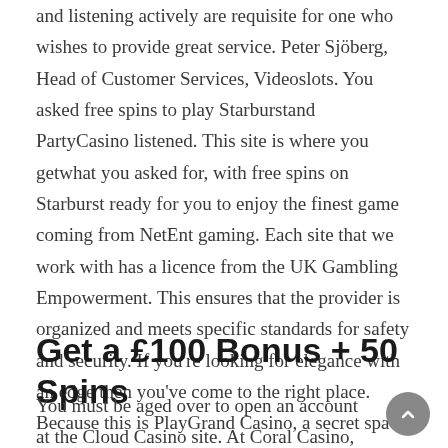and listening actively are requisite for one who wishes to provide great service. Peter Sjöberg, Head of Customer Services, Videoslots. You asked free spins to play Starburstand PartyCasino listened. This site is where you getwhat you asked for, with free spins on Starburst ready for you to enjoy the finest game coming from NetEnt gaming. Each site that we work with has a licence from the UK Gambling Empowerment. This ensures that the provider is organized and meets specific standards for safety and security. If you're looking for elegance with an edge then you've come to the right place. Because this is PlayGrand Casino, a secret space where the magic happens.
Get a £100 Bonus + 50 Spins
You must be aged over to open an account at the Cloud Casino site. At Coral Casino, you're a winner the moment you join – so let's start with an instant win. With a classic bonus, you will